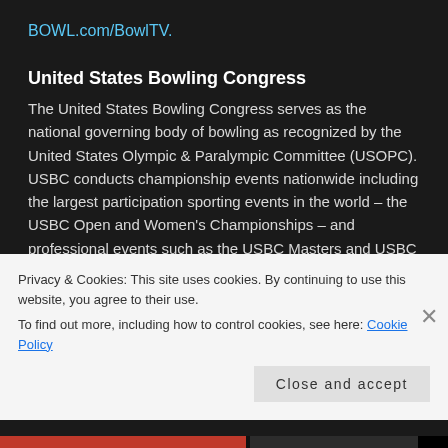BOWL.com/BowlTV.
United States Bowling Congress
The United States Bowling Congress serves as the national governing body of bowling as recognized by the United States Olympic & Paralympic Committee (USOPC). USBC conducts championship events nationwide including the largest participation sporting events in the world – the USBC Open and Women's Championships – and professional events such as the USBC Masters and USBC Queens.
Founded in 1895, today USBC and its 1,555 state and local
Privacy & Cookies: This site uses cookies. By continuing to use this website, you agree to their use.
To find out more, including how to control cookies, see here: Cookie Policy
Close and accept